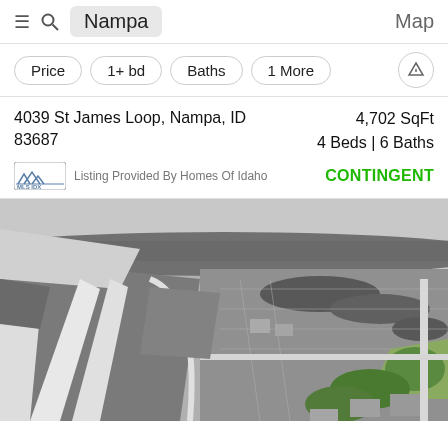Nampa | Map
Price | 1+ bd | Baths | 1 More
4039 St James Loop, Nampa, ID 83687
4,702 SqFt
4 Beds | 6 Baths
Listing Provided By Homes Of Idaho
CONTINGENT
[Figure (photo): Aerial black and white photograph of a suburban neighborhood in Nampa, ID showing roads, fields, trees, and residential areas from a drone perspective.]